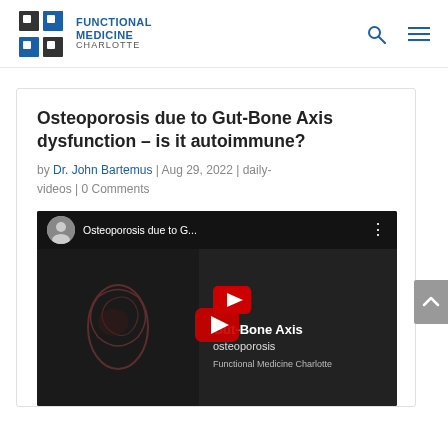Functional Medicine Charlotte
Osteoporosis due to Gut-Bone Axis dysfunction – is it autoimmune?
by Dr. John Bartemus | Aug 29, 2022 | daily-videos | 0 Comments
[Figure (screenshot): YouTube video thumbnail for 'Osteoporosis due to G...' showing a video player with a gut anatomy image on the left and text overlay on the right reading 'Gut-Bone Axis' and 'osteoporosis' with a red YouTube play button in the center.]